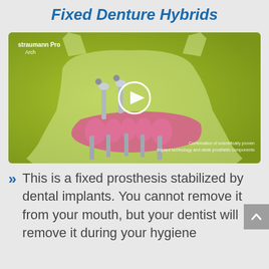Fixed Denture Hybrids
[Figure (illustration): Dental implant hybrid denture video thumbnail showing a 3D rendered lower jaw with dental implants and pink prosthetic components on a green background. Shows 'straumann Pro Arch' label and a play button. Bottom text reads 'Combination of scientifically proven implant technology and sleek prosthetic components'.]
This is a fixed prosthesis stabilized by dental implants. You cannot remove it from your mouth, but your dentist will remove it during your hygiene